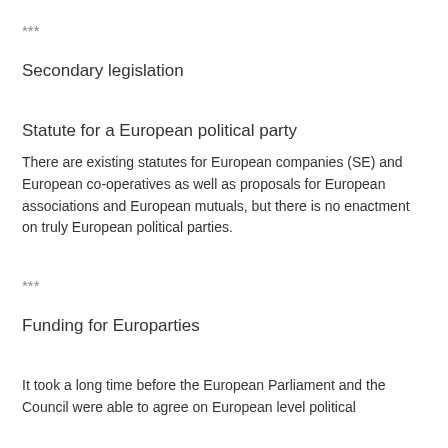***
Secondary legislation
Statute for a European political party
There are existing statutes for European companies (SE) and European co-operatives as well as proposals for European associations and European mutuals, but there is no enactment on truly European political parties.
***
Funding for Europarties
It took a long time before the European Parliament and the Council were able to agree on European level political